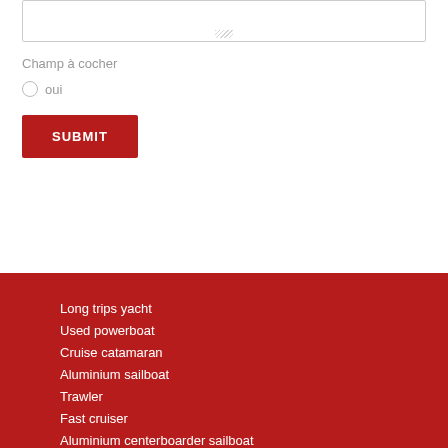[Figure (screenshot): A textarea input field with a resize handle at the bottom]
Champ à cocher
oui
SUBMIT
Long trips yacht
Used powerboat
Cruise catamaran
Aluminium sailboat
Trawler
Fast cruiser
Aluminium centerboarder sailboat